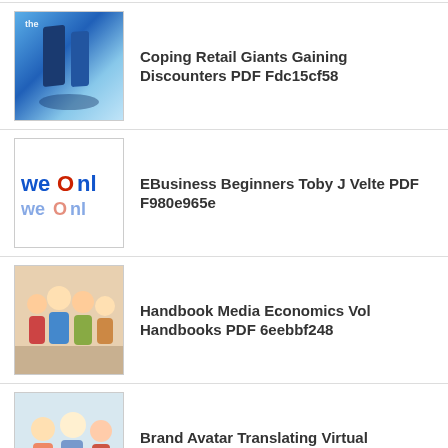Coping Retail Giants Gaining Discounters PDF Fdc15cf58
EBusiness Beginners Toby J Velte PDF F980e965e
Handbook Media Economics Vol Handbooks PDF 6eebbf248
Brand Avatar Translating Virtual Branding PDF 8d5f68768
ARCHIVES
August 2022 (39)